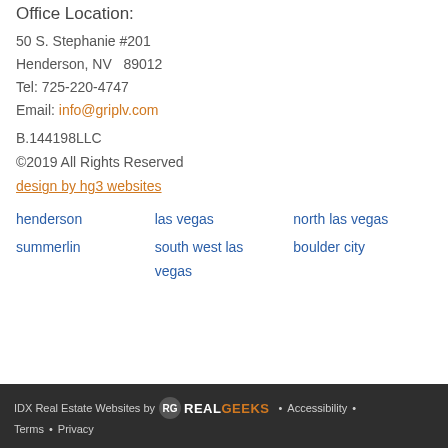Office Location:
50 S. Stephanie #201
Henderson, NV  89012
Tel: 725-220-4747
Email: info@griplv.com
B.144198LLC
©2019 All Rights Reserved
design by hg3 websites
henderson
las vegas
north las vegas
summerlin
south west las vegas
boulder city
IDX Real Estate Websites by RealGeeks • Accessibility • Terms • Privacy